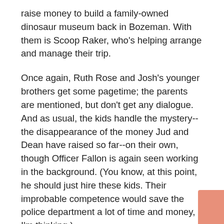raise money to build a family-owned dinosaur museum back in Bozeman. With them is Scoop Raker, who's helping arrange and manage their trip.
Once again, Ruth Rose and Josh's younger brothers get some pagetime; the parents are mentioned, but don't get any dialogue. And as usual, the kids handle the mystery--the disappearance of the money Jud and Dean have raised so far--on their own, though Officer Fallon is again seen working in the background. (You know, at this point, he should just hire these kids. Their improbable competence would save the police department a lot of time and money, I'm thinking.)
Anyway, it's another fun mystery for chapter book readers; fans of dinosaurs in particular should get a